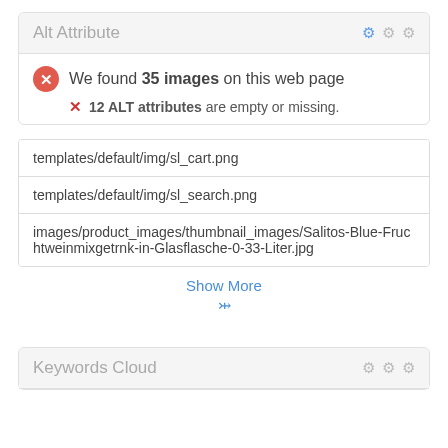Alt Attribute
We found 35 images on this web page
12 ALT attributes are empty or missing.
| templates/default/img/sl_cart.png |
| templates/default/img/sl_search.png |
| images/product_images/thumbnail_images/Salitos-Blue-Fruchtweinmixgetrnk-in-Glasflasche-0-33-Liter.jpg |
Show More
Keywords Cloud